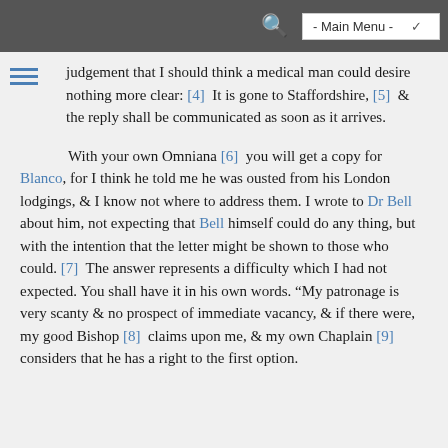- Main Menu -
judgement that I should think a medical man could desire nothing more clear: [4]  It is gone to Staffordshire, [5]  & the reply shall be communicated as soon as it arrives.
With your own Omniana [6]  you will get a copy for Blanco, for I think he told me he was ousted from his London lodgings, & I know not where to address them. I wrote to Dr Bell about him, not expecting that Bell himself could do any thing, but with the intention that the letter might be shown to those who could. [7]  The answer represents a difficulty which I had not expected. You shall have it in his own words. “My patronage is very scanty & no prospect of immediate vacancy, & if there were, my good Bishop [8]  claims upon me, & my own Chaplain [9]  considers that he has a right to the first option.